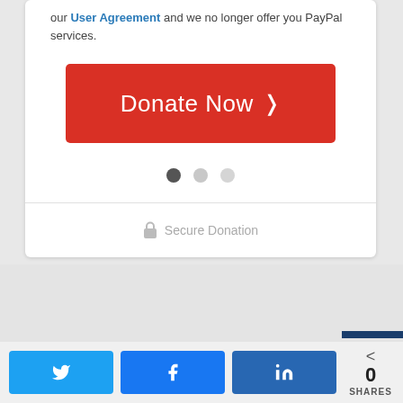our User Agreement and we no longer offer you PayPal services.
[Figure (other): Large red Donate Now button with right-pointing chevron arrow]
[Figure (other): Pagination dots: three circles, first dark gray (active), second and third light gray]
Secure Donation
[Figure (other): Social share bar with Twitter, Facebook, LinkedIn buttons and a share count showing 0 SHARES]